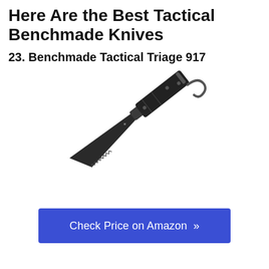Here Are the Best Tactical Benchmade Knives
23. Benchmade Tactical Triage 917
[Figure (photo): Photo of the Benchmade Tactical Triage 917 folding knife, open, with a black serrated blade and black handle with a hook/rescue tool at the bottom, shown diagonally.]
Check Price on Amazon »